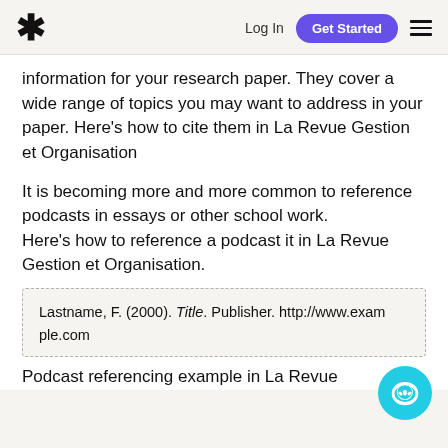* Log In  Get Started  ☰
information for your research paper. They cover a wide range of topics you may want to address in your paper. Here's how to cite them in La Revue Gestion et Organisation
It is becoming more and more common to reference podcasts in essays or other school work.
Here's how to reference a podcast it in La Revue Gestion et Organisation.
Lastname, F. (2000). Title. Publisher. http://www.example.com
Podcast referencing example in La Revue